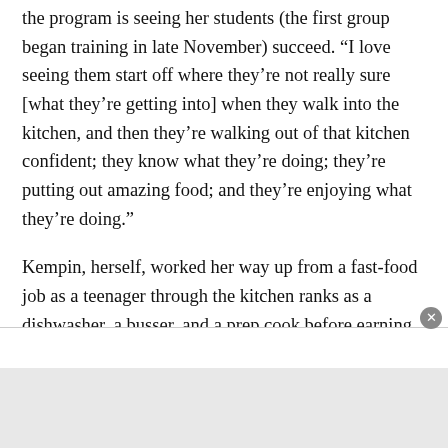the program is seeing her students (the first group began training in late November) succeed. “I love seeing them start off where they’re not really sure [what they’re getting into] when they walk into the kitchen, and then they’re walking out of that kitchen confident; they know what they’re doing; they’re putting out amazing food; and they’re enjoying what they’re doing.”
Kempin, herself, worked her way up from a fast-food job as a teenager through the kitchen ranks as a dishwasher, a busser, and a prep cook before earning her bachelor’s degree from the Culinary Institute of America and then her master’s degree in food studies from New York University.